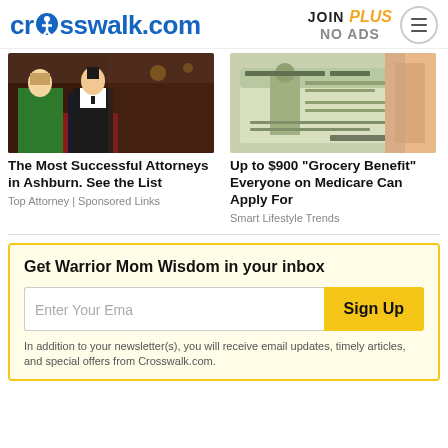crosswalk.com | JOIN PLUS NO ADS
[Figure (photo): Man in tuxedo and woman in green dress at a formal event]
The Most Successful Attorneys in Ashburn. See the List
Top Attorney | Sponsored Links
[Figure (photo): Hand holding a Medicare food allowance check]
Up to $900 "Grocery Benefit" Everyone on Medicare Can Apply For
Smart Lifestyle Trends
Get Warrior Mom Wisdom in your inbox
Enter Your Ema  Sign Up
In addition to your newsletter(s), you will receive email updates, timely articles, and special offers from Crosswalk.com.